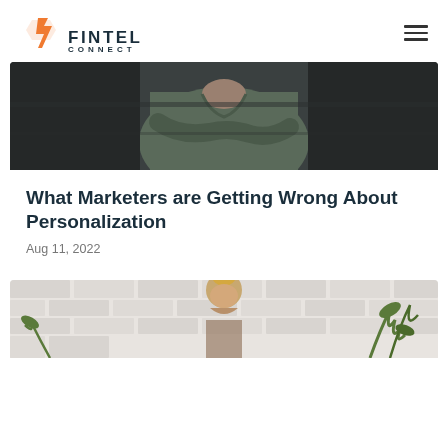[Figure (logo): Fintel Connect logo with orange geometric hexagon shape and dark text reading FINTEL CONNECT]
[Figure (photo): Person in olive/gray shirt with arms crossed in front of a dark background, partial upper body view]
What Marketers are Getting Wrong About Personalization
Aug 11, 2022
[Figure (photo): Woman with blonde hair in bun looking down, white brick wall background with plants, partial view]